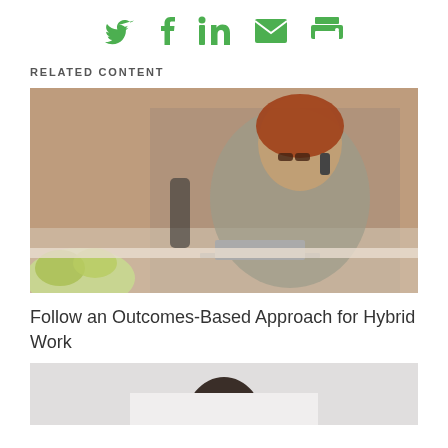Social share icons: Twitter, Facebook, LinkedIn, Email, Print
RELATED CONTENT
[Figure (photo): Woman with red hair and glasses sitting at a desk, talking on a phone while working on a laptop, brick wall in background]
Follow an Outcomes-Based Approach for Hybrid Work
[Figure (photo): Partial photo of a person, cropped at bottom of page]